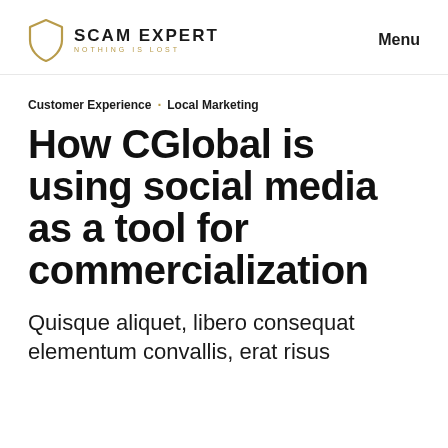SCAM EXPERT NOTHING IS LOST   Menu
Customer Experience · Local Marketing
How CGlobal is using social media as a tool for commercialization
Quisque aliquet, libero consequat elementum convallis, erat risus